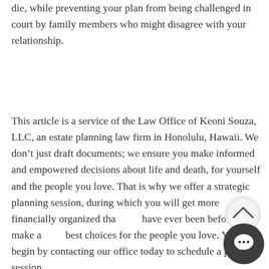die, while preventing your plan from being challenged in court by family members who might disagree with your relationship.
This article is a service of the Law Office of Keoni Souza, LLC, an estate planning law firm in Honolulu, Hawaii. We don’t just draft documents; we ensure you make informed and empowered decisions about life and death, for yourself and the people you love. That is why we offer a strategic planning session, during which you will get more financially organized than you have ever been before and make all the best choices for the people you love. You can begin by contacting our office today to schedule a planning session